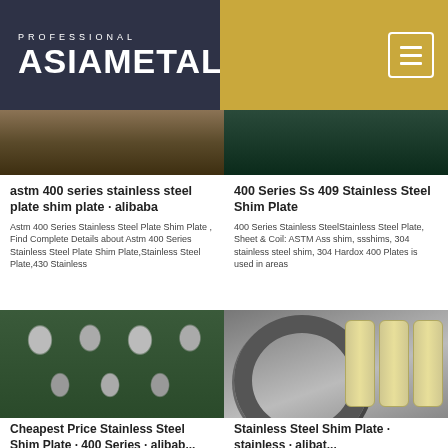PROFESSIONAL ASIAMETAL
[Figure (photo): Two product images showing stainless steel materials]
astm 400 series stainless steel plate shim plate · alibaba
Astm 400 Series Stainless Steel Plate Shim Plate , Find Complete Details about Astm 400 Series Stainless Steel Plate Shim Plate,Stainless Steel Plate,430 Stainless
400 Series Ss 409 Stainless Steel Shim Plate
400 Series Stainless SteelStainless Steel Plate, Sheet & Coil: ASTM Ass shim, ssshims, 304 stainless steel shim, 304 Hardox 400 Plates is used in areas
[Figure (photo): Left: shelves with stainless steel pipe fittings/elbows. Right: coiled stainless steel wire rod with yellow plastic rolls]
Cheapest Price Stainless Steel Shim Plate · 400 Series · alibaba
Stainless Steel Shim Plate · stainless · alibaba